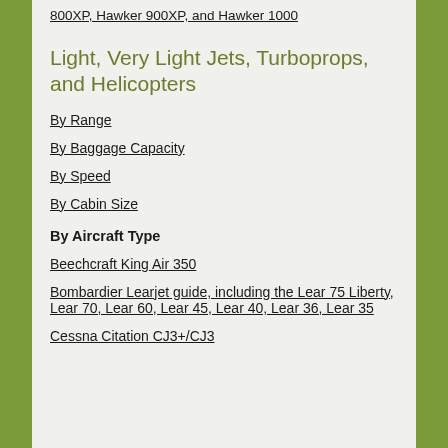800XP, Hawker 900XP, and Hawker 1000
Light, Very Light Jets, Turboprops, and Helicopters
By Range
By Baggage Capacity
By Speed
By Cabin Size
By Aircraft Type
Beechcraft King Air 350
Bombardier Learjet guide, including the Lear 75 Liberty, Lear 70, Lear 60, Lear 45, Lear 40, Lear 36, Lear 35
Cessna Citation CJ3+/CJ3